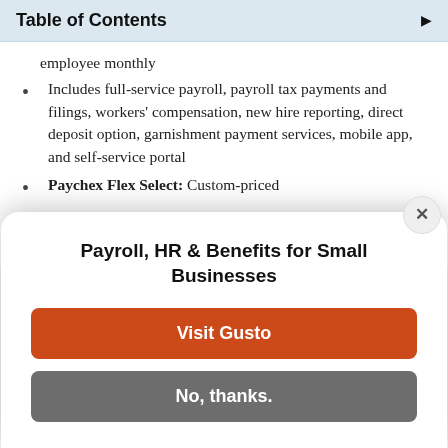Table of Contents
employee monthly
Includes full-service payroll, payroll tax payments and filings, workers' compensation, new hire reporting, direct deposit option, garnishment payment services, mobile app, and self-service portal
Paychex Flex Select: Custom-priced
Essentials except garnishment payment services + dedicated payroll specialist and learning management
Payroll, HR & Benefits for Small Businesses
Visit Gusto
No, thanks.